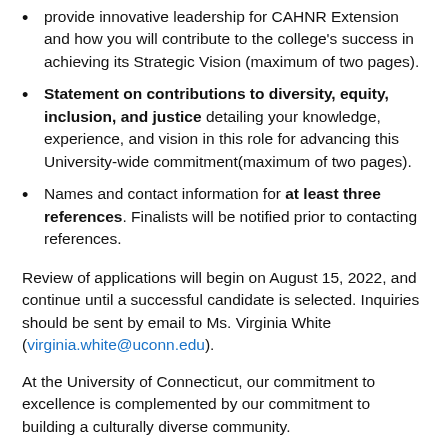provide innovative leadership for CAHNR Extension and how you will contribute to the college's success in achieving its Strategic Vision (maximum of two pages).
Statement on contributions to diversity, equity, inclusion, and justice detailing your knowledge, experience, and vision in this role for advancing this University-wide commitment(maximum of two pages).
Names and contact information for at least three references. Finalists will be notified prior to contacting references.
Review of applications will begin on August 15, 2022, and continue until a successful candidate is selected. Inquiries should be sent by email to Ms. Virginia White (virginia.white@uconn.edu).
At the University of Connecticut, our commitment to excellence is complemented by our commitment to building a culturally diverse community.
This position will be filled subject the budgetary approval.
All employees are subject to adherence to the State Code of